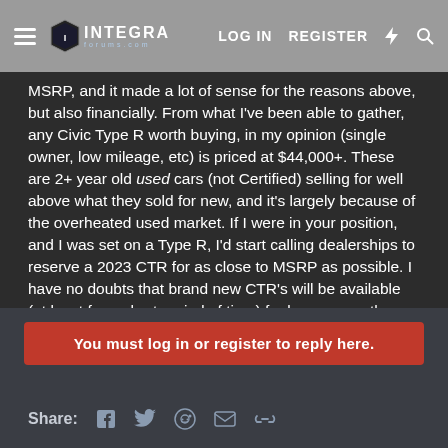Integra Forums — LOG IN  REGISTER
MSRP, and it made a lot of sense for the reasons above, but also financially. From what I've been able to gather, any Civic Type R worth buying, in my opinion (single owner, low mileage, etc) is priced at $44,000+. These are 2+ year old used cars (not Certified) selling for well above what they sold for new, and it's largely because of the overheated used market. If I were in your position, and I was set on a Type R, I'd start calling dealerships to reserve a 2023 CTR for as close to MSRP as possible. I have no doubts that brand new CTR's will be available (at least for a short period of time) for less money than today's 2017-2021 fk8's.
Sexyf22ap2 and S2000Forever
You must log in or register to reply here.
Share: